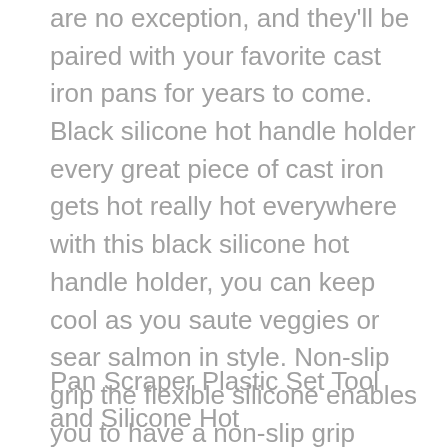are no exception, and they'll be paired with your favorite cast iron pans for years to come. Black silicone hot handle holder every great piece of cast iron gets hot really hot everywhere with this black silicone hot handle holder, you can keep cool as you saute veggies or sear salmon in style. Non-slip grip the flexible silicone enables you to have a non-slip grip when you're handling heavy cookware this dishwasher safe hot handle holder is easy to clean and can comfortably store in any drawer or cabinet.
Pan Scraper Plastic Set Tool and Silicone Hot